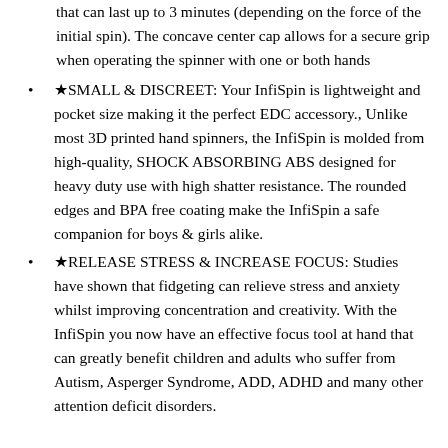that can last up to 3 minutes (depending on the force of the initial spin). The concave center cap allows for a secure grip when operating the spinner with one or both hands
★SMALL & DISCREET: Your InfiSpin is lightweight and pocket size making it the perfect EDC accessory., Unlike most 3D printed hand spinners, the InfiSpin is molded from high-quality, SHOCK ABSORBING ABS designed for heavy duty use with high shatter resistance. The rounded edges and BPA free coating make the InfiSpin a safe companion for boys & girls alike.
★RELEASE STRESS & INCREASE FOCUS: Studies have shown that fidgeting can relieve stress and anxiety whilst improving concentration and creativity. With the InfiSpin you now have an effective focus tool at hand that can greatly benefit children and adults who suffer from Autism, Asperger Syndrome, ADD, ADHD and many other attention deficit disorders.